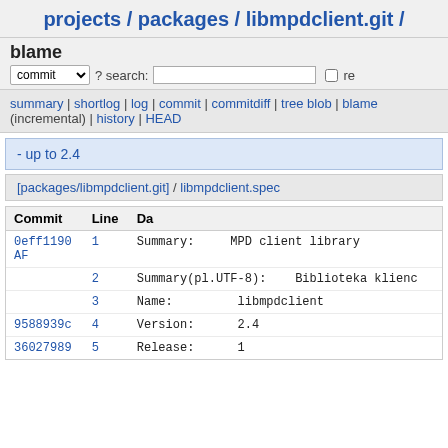projects / packages / libmpdclient.git /
blame
commit ? search: re
summary | shortlog | log | commit | commitdiff | tree blob | blame (incremental) | history | HEAD
- up to 2.4
[packages/libmpdclient.git] / libmpdclient.spec
| Commit | Line | Da |
| --- | --- | --- |
| 0eff1190 AF | 1 | Summary:    MPD client library |
|  | 2 | Summary(pl.UTF-8):    Biblioteka klienc |
|  | 3 | Name:    libmpdclient |
| 9588939c | 4 | Version:    2.4 |
| 36027989 | 5 | Release:    1 |